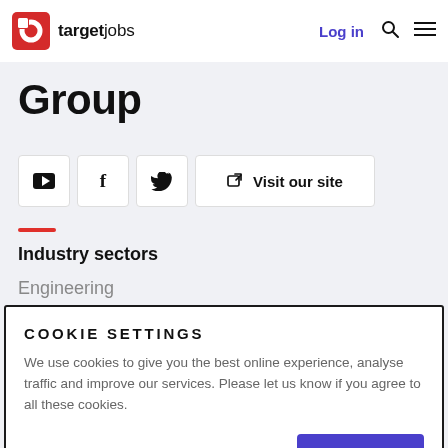targetjobs — Log in
Group
[Figure (infographic): Social media buttons: YouTube, Facebook, Twitter icons and a Visit our site button]
Industry sectors
Engineering
COOKIE SETTINGS
We use cookies to give you the best online experience, analyse traffic and improve our services. Please let us know if you agree to all these cookies.
Manage settings  Yes, I agree